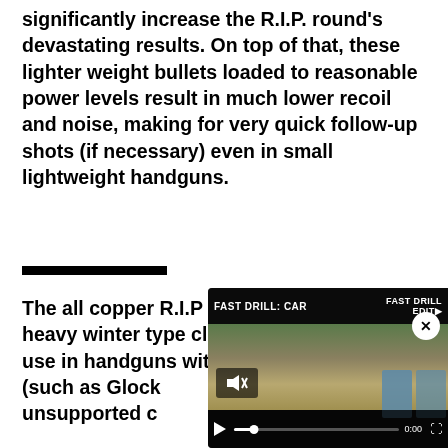significantly increase the R.I.P. round's devastating results. On top of that, these lighter weight bullets loaded to reasonable power levels result in much lower recoil and noise, making for very quick follow-up shots (if necessary) even in small lightweight handguns.
The all copper R.I.P round will penetrate heavy winter type clothing and is fine for use in handguns with barrels (such as Glock Glock's unsupported c
[Figure (screenshot): Embedded video player overlay showing 'FAST DRILL: CAR' title with shooting range scene, mute button, blue targets, play button, progress bar at 0:00, and close (x) button]